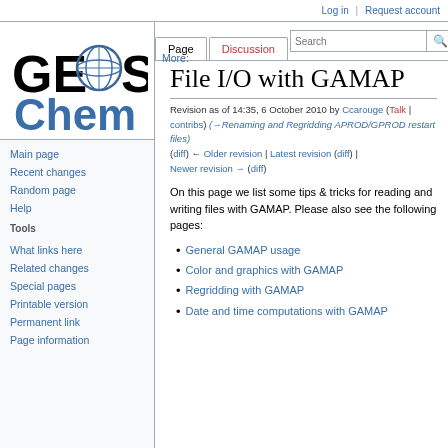Log in  Request account
[Figure (logo): GEOS-Chem logo with stylized globe between GE and S letters, Chem text below in blue]
Page  Discussion  More:  [Search]
File I/O with GAMAP
Revision as of 14:35, 6 October 2010 by Ccarouge (Talk | contribs) (→Renaming and Regridding APROD/GPROD restart files) (diff) ← Older revision | Latest revision (diff) | Newer revision → (diff)
On this page we list some tips & tricks for reading and writing files with GAMAP. Please also see the following pages:
General GAMAP usage
Color and graphics with GAMAP
Regridding with GAMAP
Date and time computations with GAMAP
Navigation: Main page, Recent changes, Random page, Help
Tools: What links here, Related changes, Special pages, Printable version, Permanent link, Page information